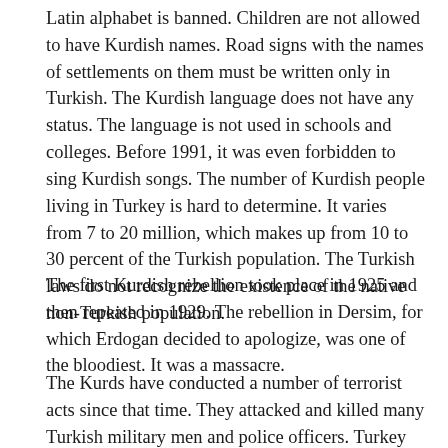Latin alphabet is banned. Children are not allowed to have Kurdish names. Road signs with the names of settlements on them must be written only in Turkish. The Kurdish language does not have any status. The language is not used in schools and colleges. Before 1991, it was even forbidden to sing Kurdish songs. The number of Kurdish people living in Turkey is hard to determine. It varies from 7 to 20 million, which makes up from 10 to 30 percent of the Turkish population. The Turkish laws do not recognize the existence of the native non-Turkish population.
The first Kurdish rebellion took place in 1925 and then repeated in 1929. The rebellion in Dersim, for which Erdogan decided to apologize, was one of the bloodiest. It was a massacre.
The Kurds have conducted a number of terrorist acts since that time. They attacked and killed many Turkish military men and police officers. Turkey responded with bombardments. The Kurdish issue has become even more serious now because the Kurds in Iraq are in a better scope after the collapse of Sadd...